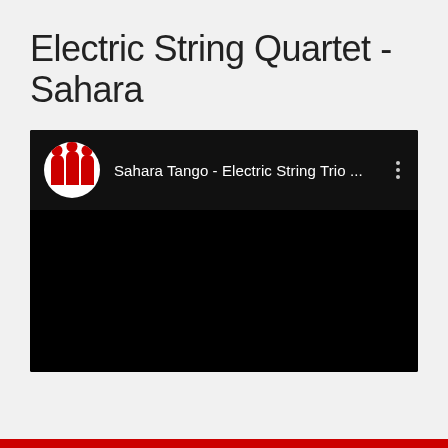Electric String Quartet - Sahara
[Figure (screenshot): A YouTube video player screenshot showing a black video area with a channel header bar. The channel avatar shows three figures in red dresses. The channel name reads 'Sahara Tango - Electric String Trio ...' with a three-dot menu icon on the right.]